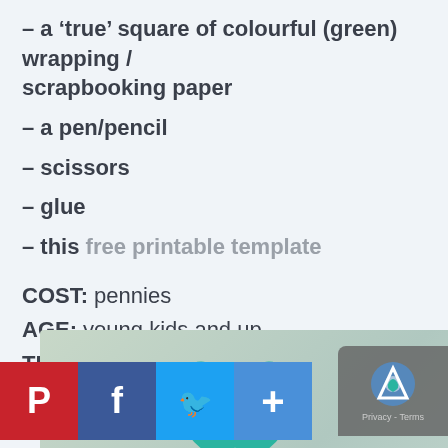– a ‘true’ square of colourful (green) wrapping / scrapbooking paper
– a pen/pencil
– scissors
– glue
– this free printable template
COST: pennies
AGE: young kids and up
TIME: 10 minutes or less
[Figure (photo): Bottom portion of page showing a photo with teal leaf/heart shapes on a muted green/gray background, social media share buttons (Pinterest, Facebook, Twitter, plus), and a reCAPTCHA badge.]